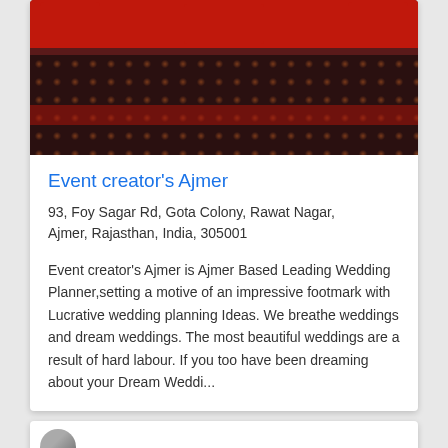[Figure (photo): Photo of a wedding/event setup with red sofas and decorative carpet, red tablecloth and dark patterned floor covering]
Event creator's Ajmer
93, Foy Sagar Rd, Gota Colony, Rawat Nagar, Ajmer, Rajasthan, India, 305001
Event creator's Ajmer is Ajmer Based Leading Wedding Planner,setting a motive of an impressive footmark with Lucrative wedding planning Ideas. We breathe weddings and dream weddings. The most beautiful weddings are a result of hard labour. If you too have been dreaming about your Dream Weddi...
[Figure (photo): Partially visible second listing card with a circular thumbnail image]